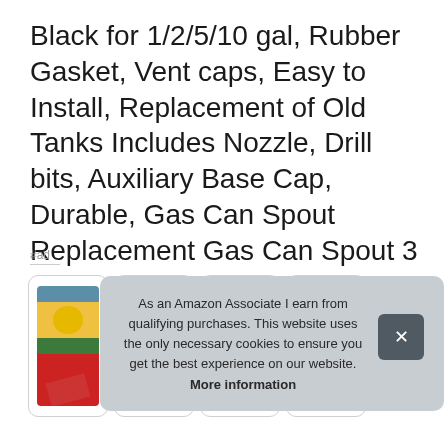Black for 1/2/5/10 gal, Rubber Gasket, Vent caps, Easy to Install, Replacement of Old Tanks Includes Nozzle, Drill bits, Auxiliary Base Cap, Durable, Gas Can Spout Replacement Gas Can Spout 3 Sets
#ad
[Figure (other): Product listing card row with product image on the left (showing a red/yellow/green product) followed by additional product cards]
As an Amazon Associate I earn from qualifying purchases. This website uses the only necessary cookies to ensure you get the best experience on our website. More information